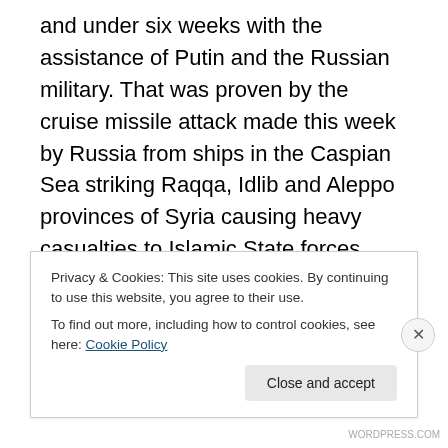and under six weeks with the assistance of Putin and the Russian military. That was proven by the cruise missile attack made this week by Russia from ships in the Caspian Sea striking Raqqa, Idlib and Aleppo provinces of Syria causing heavy casualties to Islamic State forces stationed in these areas. Further, you will note the lack of concern over the use by the Russian forces in Syria of disproportional force as the Islamic State cannot launch cruise missiles from ships, they have no ships. Further, where is the concern over collateral damage, civilian casualties or of causing collective punishment and
Privacy & Cookies: This site uses cookies. By continuing to use this website, you agree to their use.
To find out more, including how to control cookies, see here: Cookie Policy